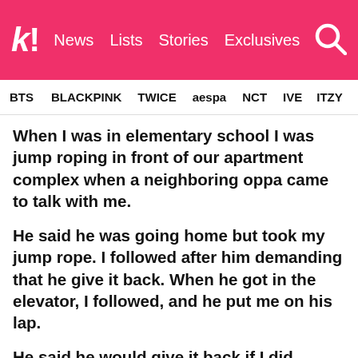k! News Lists Stories Exclusives
BTS BLACKPINK TWICE aespa NCT IVE ITZY
When I was in elementary school I was jump roping in front of our apartment complex when a neighboring oppa came to talk with me.
He said he was going home but took my jump rope. I followed after him demanding that he give it back. When he got in the elevator, I followed, and he put me on his lap.
He said he would give it back if I did aegyo. So I did it. At the time I didn't know it was sexual harassment, but his